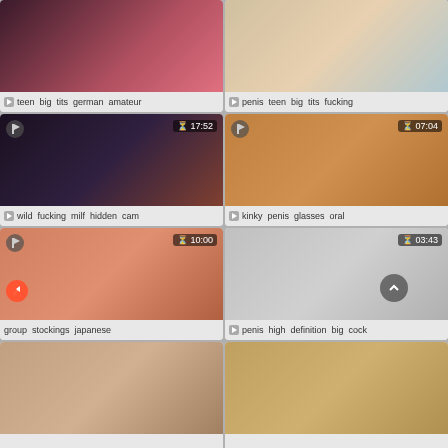[Figure (screenshot): Video thumbnail grid showing adult video thumbnails with tags]
teen big tits german amateur
penis teen big tits fucking
wild fucking milf hidden cam
kinky penis glasses oral
group stockings japanese
penis high definition big cock